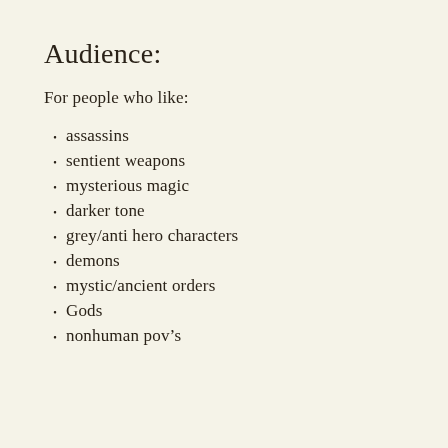Audience:
For people who like:
assassins
sentient weapons
mysterious magic
darker tone
grey/anti hero characters
demons
mystic/ancient orders
Gods
nonhuman pov’s